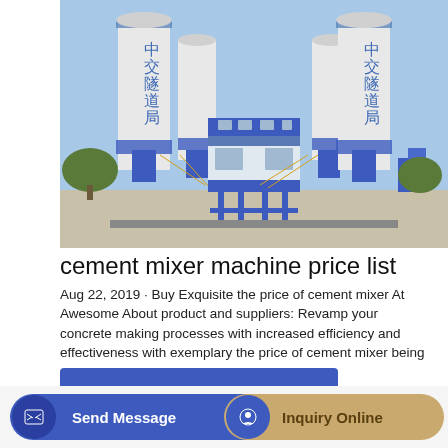[Figure (photo): Cement mixing plant with large white silos labeled in Chinese characters (中交隧道局), blue steel framework, yellow conveyor pipes, and a two-story blue and white control building in the center. Located on a concrete pad outdoors.]
cement mixer machine price list
Aug 22, 2019 · Buy Exquisite the price of cement mixer At Awesome About product and suppliers: Revamp your concrete making processes with increased efficiency and effectiveness with exemplary the price of cement mixer being offered at Alibaba.com at unrivaled discounts.
GET A QUOTE
Send Message
Inquiry Online